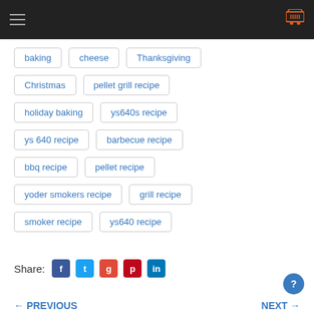Navigation bar with hamburger menu and cart icon
baking
cheese
Thanksgiving
Christmas
pellet grill recipe
holiday baking
ys640s recipe
ys 640 recipe
barbecue recipe
bbq recipe
pellet recipe
yoder smokers recipe
grill recipe
smoker recipe
ys640 recipe
Share:
← PREVIOUS    NEXT →